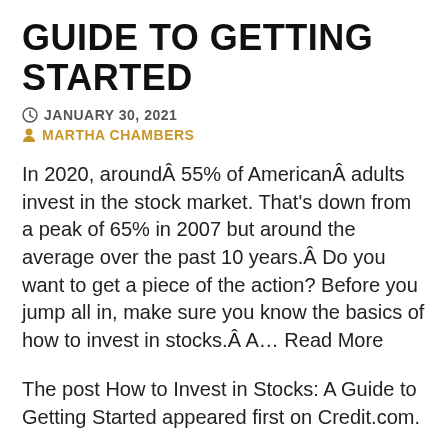GUIDE TO GETTING STARTED
JANUARY 30, 2021
MARTHA CHAMBERS
In 2020, aroundÂ 55% of AmericanÂ adults invest in the stock market. That's down from a peak of 65% in 2007 but around the average over the past 10 years.Â Do you want to get a piece of the action? Before you jump all in, make sure you know the basics of how to invest in stocks.Â  A… Read More
The post How to Invest in Stocks: A Guide to Getting Started appeared first on Credit.com.